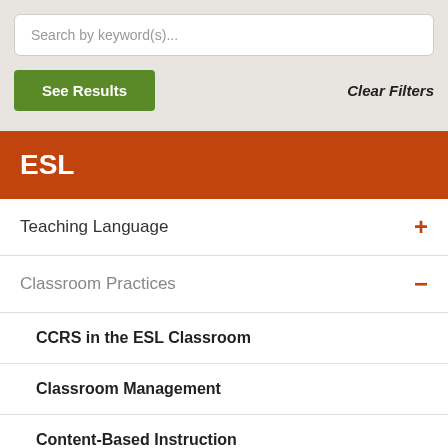Search by keyword(s)...
See Results
Clear Filters
ESL
Teaching Language +
Classroom Practices −
CCRS in the ESL Classroom
Classroom Management
Content-Based Instruction
Multilevel Instruction